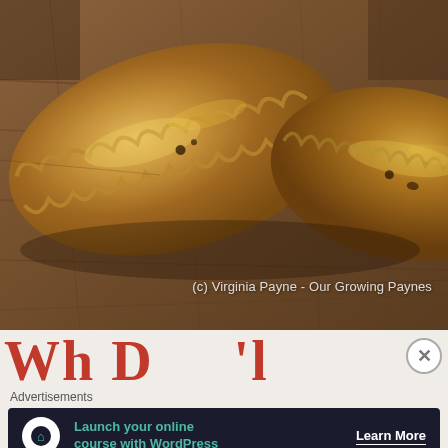[Figure (photo): Close-up photo of golden-brown baked pastries (hand pies or empanadas) on a wooden cutting board surface, with crimped edges and glazed tops]
(c) Virginia Payne - Our Growing Paynes
Wh D 'l (partial, cropped title visible)
Advertisements
Launch your online course with WordPress
Learn More